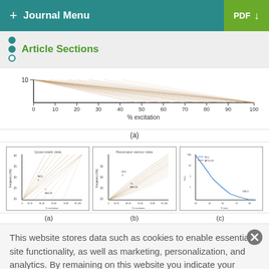+ Journal Menu   PDF ↓
Article Sections
[Figure (continuous-plot): Partial view of a chart showing 'y' axis value of 10 and x-axis labeled '% excitation' with tick marks 0, 10, 20, 30, 40, 50, 60, 70, 80, 90, 100. Multi-colored hatched lines fan across the plot area.]
(a)
[Figure (continuous-plot): Three small sub-figures side by side. Left: 'Quasi-static data' showing overlapping fan lines, frequency (Hz) vs % excitation. Middle: 'Resonator sensor data' showing overlapping fan lines, frequency (Hz) vs % excitation. Right: decay curve F(s) vs F (ms).]
(a)                  (b)                  (c)
This website stores data such as cookies to enable essential site functionality, as well as marketing, personalization, and analytics. By remaining on this website you indicate your consent. Cookie Policy